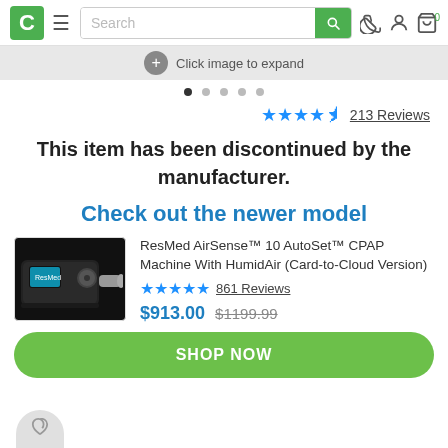C [menu] [Search] [search button] [phone] [user] [cart 0]
[Figure (screenshot): Click image to expand button with plus icon, image carousel dots]
This item has been discontinued by the manufacturer.
Check out the newer model
[Figure (photo): ResMed AirSense 10 AutoSet CPAP machine product image]
ResMed AirSense™ 10 AutoSet™ CPAP Machine With HumidAir (Card-to-Cloud Version)
861 Reviews  $913.00  $1199.99
SHOP NOW